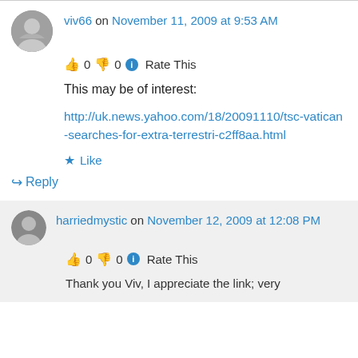viv66 on November 11, 2009 at 9:53 AM
👍 0 👎 0 ℹ Rate This
This may be of interest:
http://uk.news.yahoo.com/18/20091110/tsc-vatican-searches-for-extra-terrestri-c2ff8aa.html
★ Like
↪ Reply
harriedmystic on November 12, 2009 at 12:08 PM
👍 0 👎 0 ℹ Rate This
Thank you Viv, I appreciate the link; very